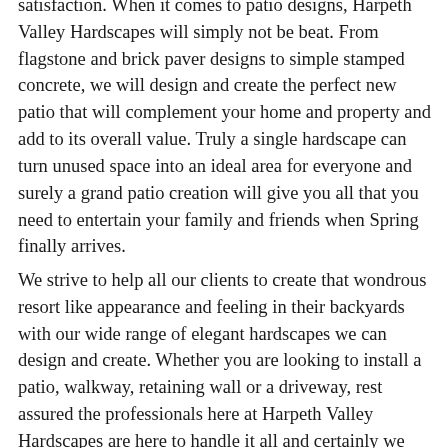satisfaction. When it comes to patio designs, Harpeth Valley Hardscapes will simply not be beat. From flagstone and brick paver designs to simple stamped concrete, we will design and create the perfect new patio that will complement your home and property and add to its overall value. Truly a single hardscape can turn unused space into an ideal area for everyone and surely a grand patio creation will give you all that you need to entertain your family and friends when Spring finally arrives.
We strive to help all our clients to create that wondrous resort like appearance and feeling in their backyards with our wide range of elegant hardscapes we can design and create. Whether you are looking to install a patio, walkway, retaining wall or a driveway, rest assured the professionals here at Harpeth Valley Hardscapes are here to handle it all and certainly we can help you decide on the perfect landscaping to go along with it that will enhance both your new patio and your entire yard as well. Put your spring plans into action and contact us today for your free patio design and installation. We look forward to adding